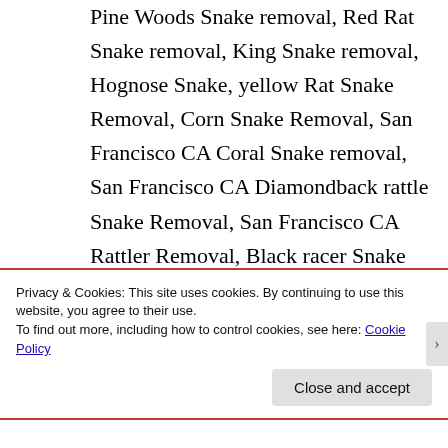Pine Woods Snake removal, Red Rat Snake removal, King Snake removal, Hognose Snake, yellow Rat Snake Removal, Corn Snake Removal, San Francisco CA Coral Snake removal, San Francisco CA Diamondback rattle Snake Removal, San Francisco CA Rattler Removal, Black racer Snake Removal, Banded Water Snake
Privacy & Cookies: This site uses cookies. By continuing to use this website, you agree to their use.
To find out more, including how to control cookies, see here: Cookie Policy